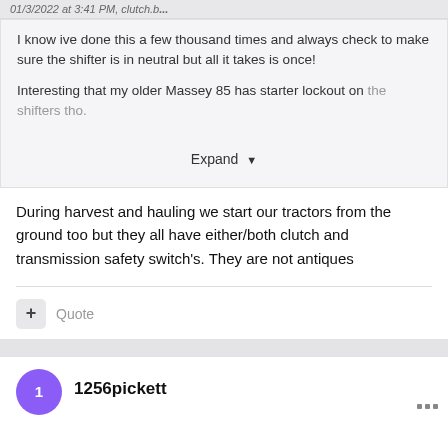01/3/2022 at 3:41 PM, clutch.b...
I know ive done this a few thousand times and always check to make sure the shifter is in neutral but all it takes is once!
Interesting that my older Massey 85 has starter lockout on the shifters tho.
Expand ▼
During harvest and hauling we start our tractors from the ground too but they all have either/both clutch and transmission safety switch's. They are not antiques
+ Quote
1256pickett